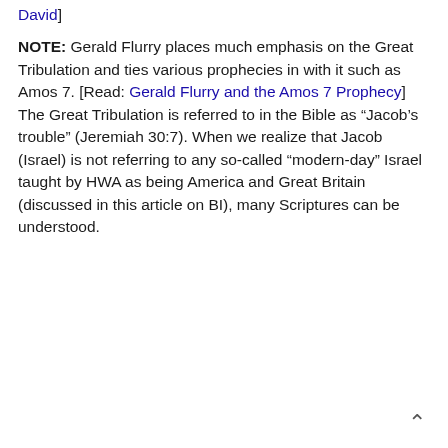David]
NOTE: Gerald Flurry places much emphasis on the Great Tribulation and ties various prophecies in with it such as Amos 7. [Read: Gerald Flurry and the Amos 7 Prophecy] The Great Tribulation is referred to in the Bible as “Jacob’s trouble” (Jeremiah 30:7). When we realize that Jacob (Israel) is not referring to any so-called “modern-day” Israel taught by HWA as being America and Great Britain (discussed in this article on BI), many Scriptures can be understood.